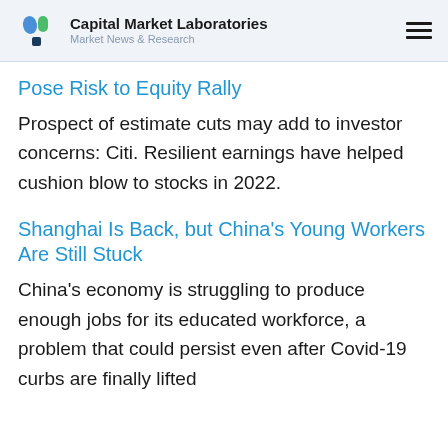Capital Market Laboratories — Market News & Research
Pose Risk to Equity Rally
Prospect of estimate cuts may add to investor concerns: Citi. Resilient earnings have helped cushion blow to stocks in 2022.
Shanghai Is Back, but China's Young Workers Are Still Stuck
China's economy is struggling to produce enough jobs for its educated workforce, a problem that could persist even after Covid-19 curbs are finally lifted